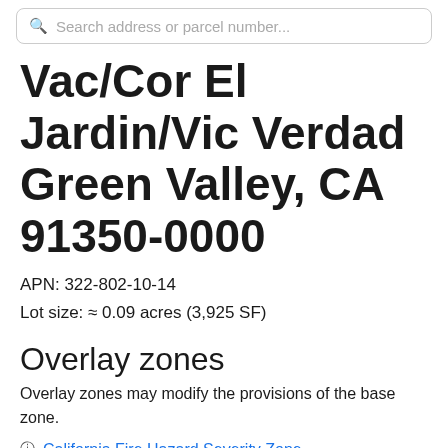Search address or parcel number...
Vac/Cor El Jardin/Vic Verdad Green Valley, CA 91350-0000
APN: 322-802-10-14
Lot size: ≈ 0.09 acres (3,925 SF)
Overlay zones
Overlay zones may modify the provisions of the base zone.
California Fire Hazard Severity Zone
Note: Overlay zones are added upon request. If you would